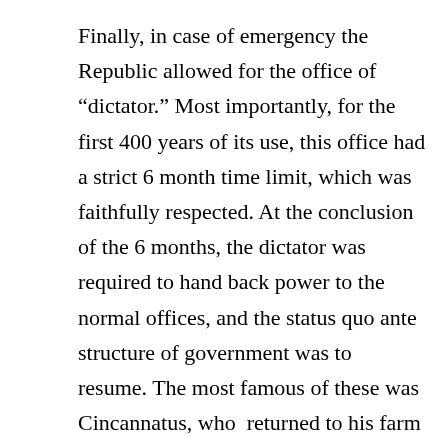Finally, in case of emergency the Republic allowed for the office of “dictator.” Most importantly, for the first 400 years of its use, this office had a strict 6 month time limit, which was faithfully respected. At the conclusion of the 6 months, the dictator was required to hand back power to the normal offices, and the status quo ante structure of government was to resume. The most famous of these was Cincannatus, who  returned to his farm after his six month office expired.
So powerful was the civic pride in the Republic that, when the Macedonian Pyrrhus (of “Pyrrhic victory” fame) tried to bribe a relatively poor Roman general, Fabricius, Fabricius refused by